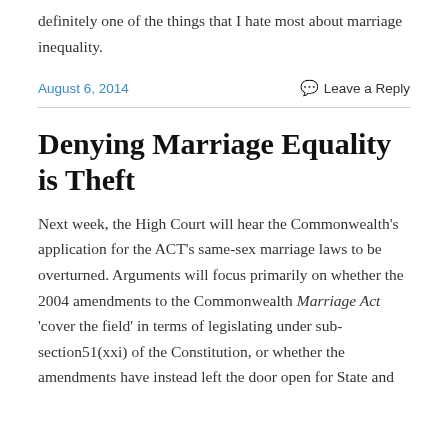definitely one of the things that I hate most about marriage inequality.
August 6, 2014
Leave a Reply
Denying Marriage Equality is Theft
Next week, the High Court will hear the Commonwealth's application for the ACT's same-sex marriage laws to be overturned. Arguments will focus primarily on whether the 2004 amendments to the Commonwealth Marriage Act 'cover the field' in terms of legislating under sub-section51(xxi) of the Constitution, or whether the amendments have instead left the door open for State and